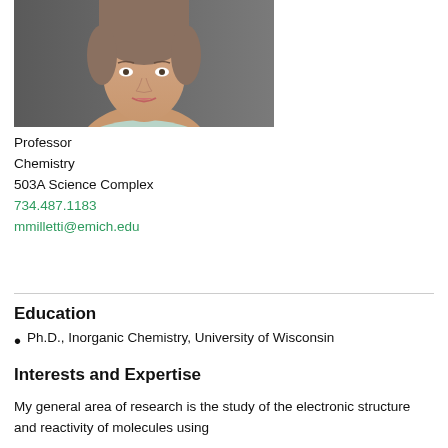[Figure (photo): Headshot photograph of a woman wearing a floral patterned blouse, photographed against a gray background. The photo is cropped to show head and upper torso.]
Professor
Chemistry
503A Science Complex
734.487.1183
mmilletti@emich.edu
Education
Ph.D., Inorganic Chemistry, University of Wisconsin
Interests and Expertise
My general area of research is the study of the electronic structure and reactivity of molecules using